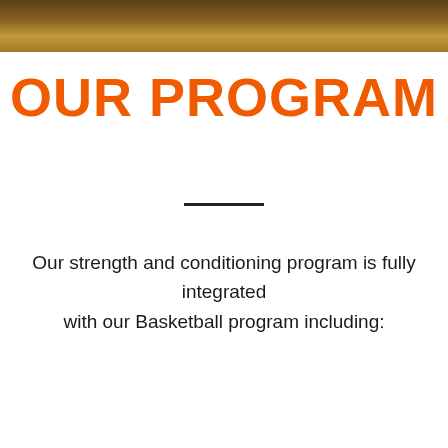[Figure (photo): Wooden basketball court floor texture header bar]
OUR PROGRAM
Our strength and conditioning program is fully integrated with our Basketball program including: